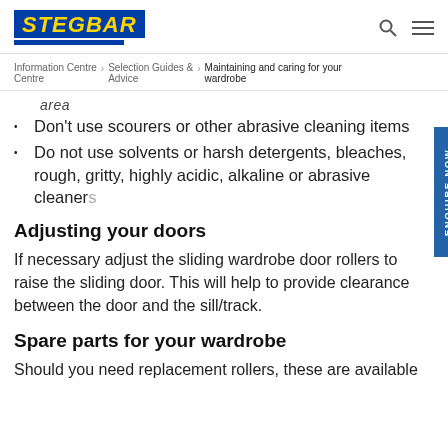STEGBAR
Information Centre > Selection Guides & Advice > Maintaining and caring for your wardrobe
area
Don't use scourers or other abrasive cleaning items
Do not use solvents or harsh detergents, bleaches, rough, gritty, highly acidic, alkaline or abrasive cleaners
Adjusting your doors
If necessary adjust the sliding wardrobe door rollers to raise the sliding door. This will help to provide clearance between the door and the sill/track.
Spare parts for your wardrobe
Should you need replacement rollers, these are available